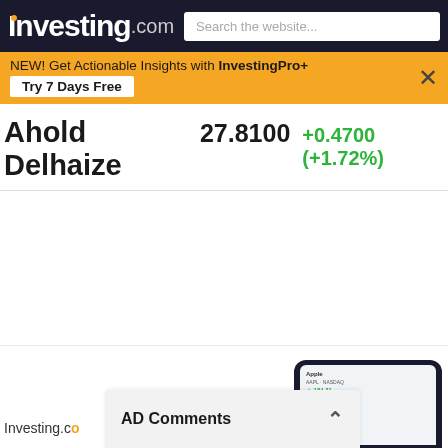Investing.com  Search the website...
NEW! Get Actionable Insights with InvestingPro+  Try 7 Days Free
Ahold Delhaize  27.8100  +0.4700 (+1.72%)
[Figure (screenshot): Empty white chart area for Ahold Delhaize stock price]
[Figure (screenshot): Phone screenshot showing Investing.com app with stock data]
AD Comments
Investing.co